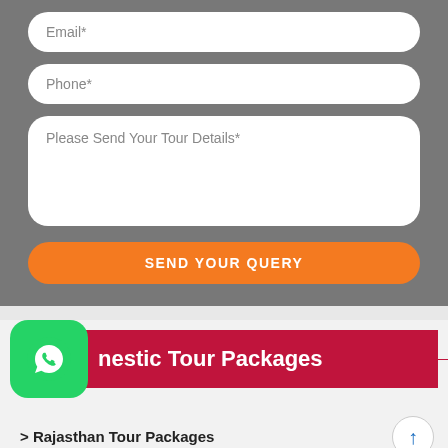Email*
Phone*
Please Send Your Tour Details*
SEND YOUR QUERY
[Figure (logo): WhatsApp green rounded square icon with white phone handset logo]
nestic Tour Packages
> Rajasthan Tour Packages
> Golden Triangle Tour Packages